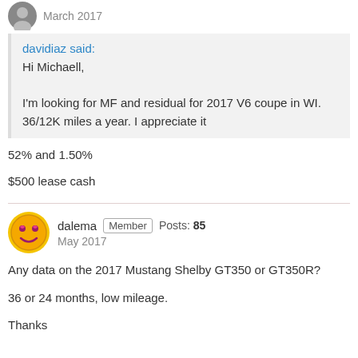March 2017
davidiaz said:
Hi Michaell,

I'm looking for MF and residual for 2017 V6 coupe in WI. 36/12K miles a year. I appreciate it
52% and 1.50%
$500 lease cash
dalema  Member  Posts: 85
May 2017
Any data on the 2017 Mustang Shelby GT350 or GT350R?
36 or 24 months, low mileage.
Thanks